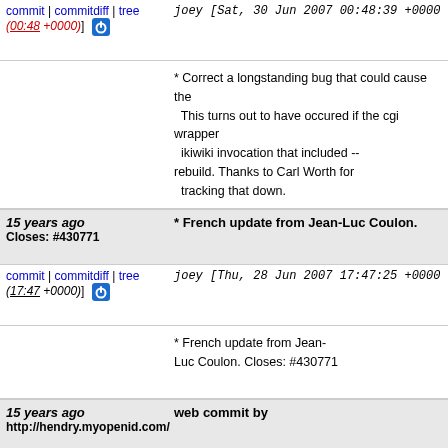commit | commitdiff | tree (00:48 +0000)]  joey [Sat, 30 Jun 2007 00:48:39 +0000
* Correct a longstanding bug that could cause the This turns out to have occured if the cgi wrapper ikiwiki invocation that included -- rebuild. Thanks to Carl Worth for tracking that down.
15 years ago Closes: #430771  * French update from Jean-Luc Coulon.
commit | commitdiff | tree (17:47 +0000)]  joey [Thu, 28 Jun 2007 17:47:25 +0000
* French update from Jean-Luc Coulon. Closes: #430771
15 years ago web commit by http://hendry.myopenid.com/
commit | commitdiff | tree (06:37 +0000)]  joey [Thu, 28 Jun 2007 06:37:00 +0000
web commit by http://hendry.myopenid.com/
15 years ago web commit by